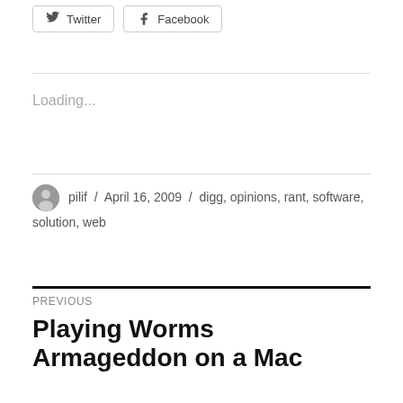[Figure (other): Share buttons for Twitter and Facebook]
Loading...
pilif / April 16, 2009 / digg, opinions, rant, software, solution, web
PREVIOUS
Playing Worms Armageddon on a Mac